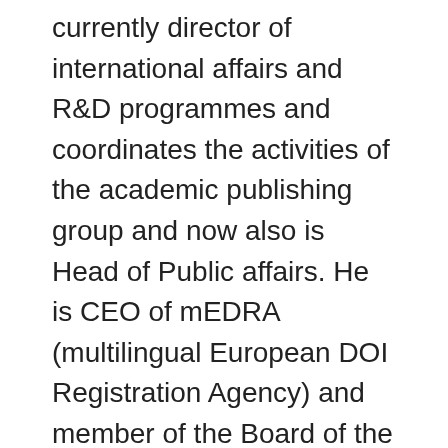currently director of international affairs and R&D programmes and coordinates the activities of the academic publishing group and now also is Head of Public affairs. He is CEO of mEDRA (multilingual European DOI Registration Agency) and member of the Board of the Fondazione LIA, which provides services to enhance accessibility of ebooks for visually impaired people.
He has been the scientific director of the ARROW projects (www.arrow-net.eu), the leading European initiative to facilitate